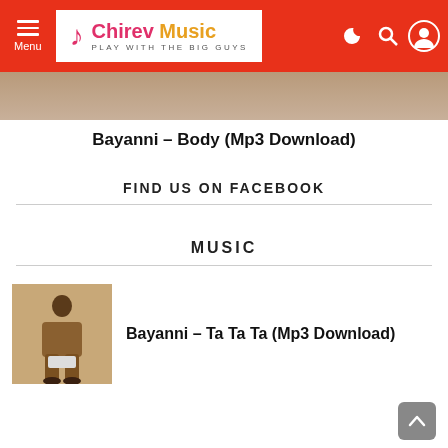Chirev Music — PLAY WITH THE BIG GUYS
[Figure (screenshot): Thumbnail image strip at top of page showing a person in brown]
Bayanni – Body (Mp3 Download)
FIND US ON FACEBOOK
MUSIC
[Figure (photo): Person in a brown suit sitting, used as music post thumbnail]
Bayanni – Ta Ta Ta (Mp3 Download)